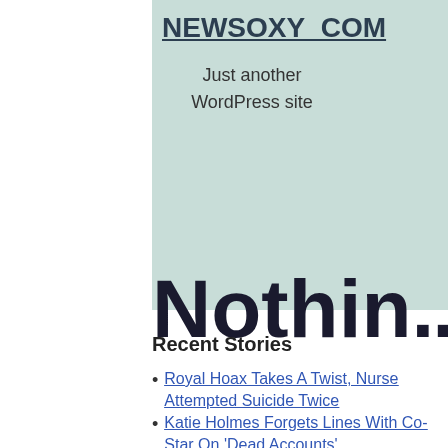NEWSOXY_COM
Just another WordPress site
Nothin...
Recent Stories
Royal Hoax Takes A Twist, Nurse Attempted Suicide Twice
Katie Holmes Forgets Lines With Co-Star On 'Dead Accounts'